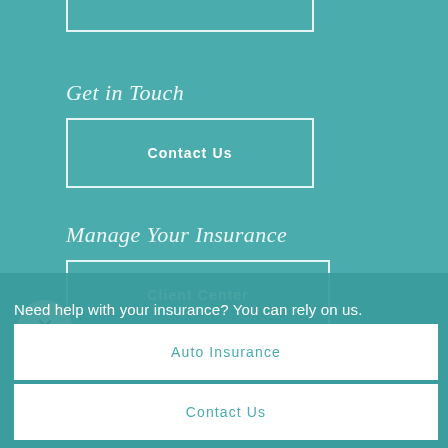[Figure (other): Partial bottom edge of a button box at top of page]
Get in Touch
Contact Us
Manage Your Insurance
Client Center
[Figure (other): Close/dismiss circle button with X symbol]
Need help with your insurance? You can rely on us.
Auto Insurance
Contact Us